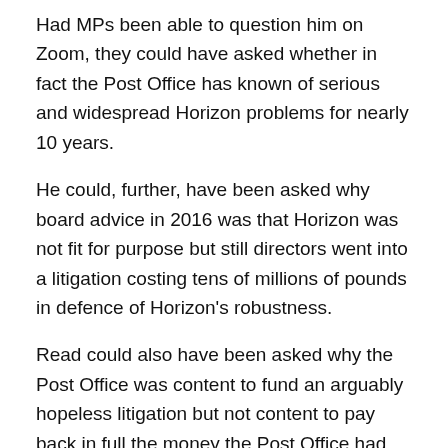Had MPs been able to question him on Zoom, they could have asked whether in fact the Post Office has known of serious and widespread Horizon problems for nearly 10 years.
He could, further, have been asked why board advice in 2016 was that Horizon was not fit for purpose but still directors went into a litigation costing tens of millions of pounds in defence of Horizon's robustness.
Read could also have been asked why the Post Office was content to fund an arguably hopeless litigation but not content to pay back in full the money the Post Office had wrongly acquired from Horizon scandal victims.
Some of Read's answers suggested he could not speak for the period before he joined as CEO in September 2019. On Zoom, however, MPs could have asked him